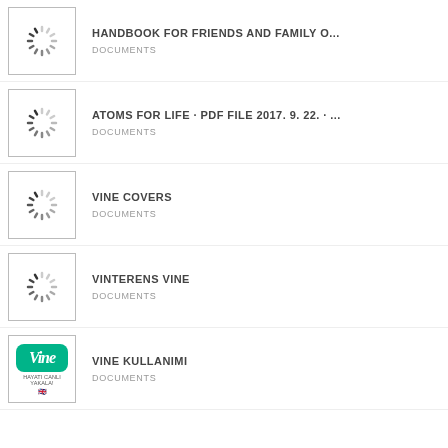HANDBOOK FOR FRIENDS AND FAMILY O... | DOCUMENTS
ATOMS FOR LIFE · PDF FILE 2017. 9. 22. · ... | DOCUMENTS
VINE COVERS | DOCUMENTS
VINTERENS VINE | DOCUMENTS
VINE KULLANIMI | DOCUMENTS